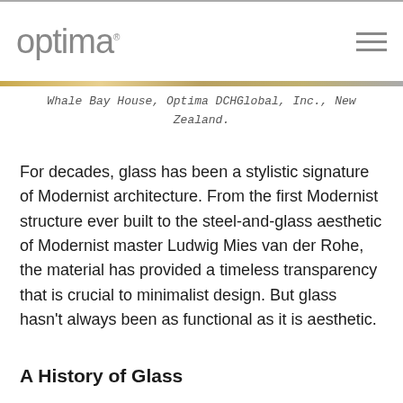optima
Whale Bay House, Optima DCHGlobal, Inc., New Zealand.
For decades, glass has been a stylistic signature of Modernist architecture. From the first Modernist structure ever built to the steel-and-glass aesthetic of Modernist master Ludwig Mies van der Rohe, the material has provided a timeless transparency that is crucial to minimalist design. But glass hasn't always been as functional as it is aesthetic.
A History of Glass